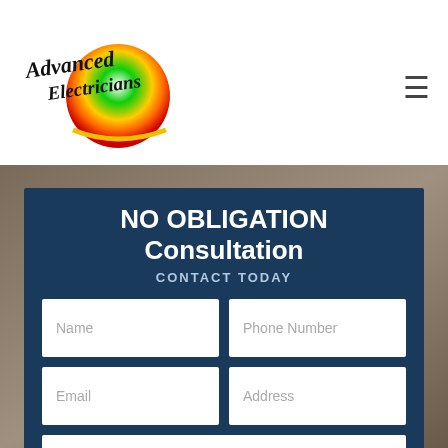[Figure (logo): Advanced Electricians logo with colorful globe and script text]
NO OBLIGATION Consultation
CONTACT TODAY
[Figure (screenshot): Web contact form with fields: Name, Phone Number, Email, Address, How Can We Help?]